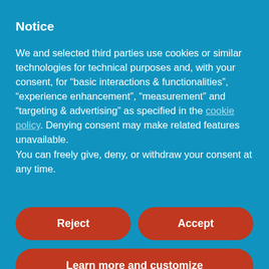Notice
We and selected third parties use cookies or similar technologies for technical purposes and, with your consent, for “basic interactions & functionalities”, “experience enhancement”, “measurement” and “targeting & advertising” as specified in the cookie policy. Denying consent may make related features unavailable.
You can freely give, deny, or withdraw your consent at any time.
[Figure (screenshot): Two buttons side by side: 'Reject' (left, red rounded) and 'Accept' (right, red rounded)]
[Figure (screenshot): Full-width button: 'Learn more and customize' (red rounded)]
Un #romanzo che offre atmosfere potentissime come sfondo a due protagoniste senza tempo: la montagna 🏔 e l’amicizia 💖
Ti piacerebbe leggerlo?
Dai un’occhiata alla nostra recensione